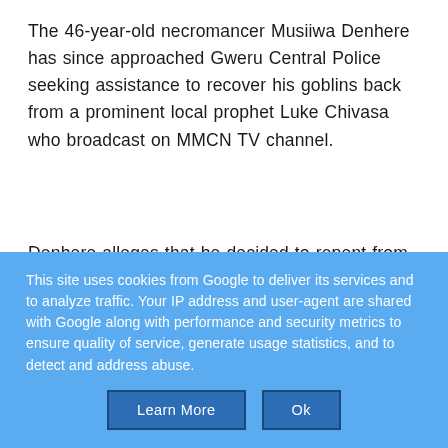The 46-year-old necromancer Musiiwa Denhere has since approached Gweru Central Police seeking assistance to recover his goblins back from a prominent local prophet Luke Chivasa who broadcast on MMCN TV channel.
Denhere alleges that he decided to repent from his evil ways sometime last year by joining MMCN church led by Prophet Chivasa where he surrendered the
This site uses cookies from Google to deliver its services and to analyze traffic. Your IP address and user-agent are shared with Google along with performance and security metrics to ensure quality of service, generate usage statistics, and to detect and address abuse.